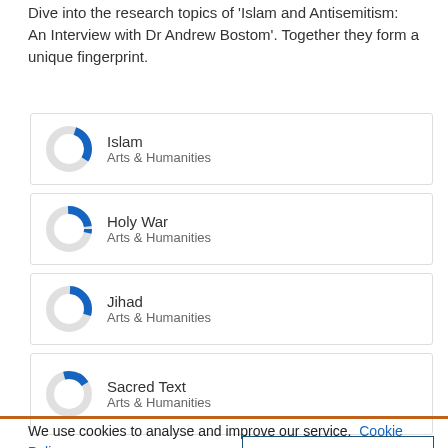Dive into the research topics of 'Islam and Antisemitism: An Interview with Dr Andrew Bostom'. Together they form a unique fingerprint.
[Figure (donut-chart): Donut chart showing partial fill (~30%) in blue for Islam, Arts & Humanities]
Islam
Arts & Humanities
[Figure (donut-chart): Donut chart showing partial fill (~25%) in blue for Holy War, Arts & Humanities]
Holy War
Arts & Humanities
[Figure (donut-chart): Donut chart showing partial fill (~28%) in blue for Jihad, Arts & Humanities]
Jihad
Arts & Humanities
[Figure (donut-chart): Donut chart showing partial fill (~22%) in blue for Sacred Text, Arts & Humanities]
Sacred Text
Arts & Humanities
We use cookies to analyse and improve our service. Cookie Policy